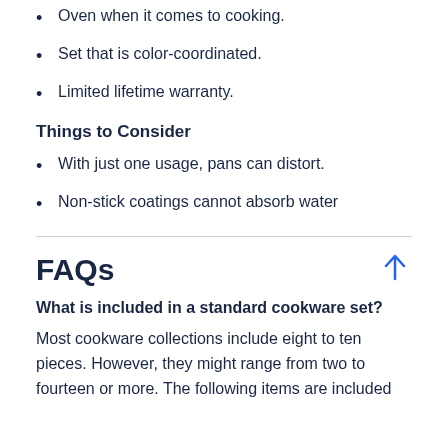Oven when it comes to cooking.
Set that is color-coordinated.
Limited lifetime warranty.
Things to Consider
With just one usage, pans can distort.
Non-stick coatings cannot absorb water
FAQs
What is included in a standard cookware set?
Most cookware collections include eight to ten pieces. However, they might range from two to fourteen or more. The following items are included